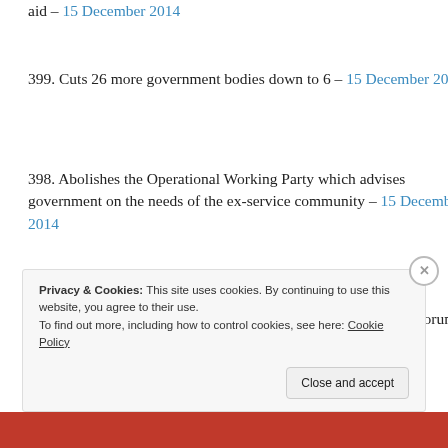aid – 15 December 2014
399. Cuts 26 more government bodies down to 6 – 15 December 2014
398. Abolishes the Operational Working Party which advises government on the needs of the ex-service community – 15 December 2014
397. Cancels the National Health, Aged and Community Care Forum – 15 December 2014
Privacy & Cookies: This site uses cookies. By continuing to use this website, you agree to their use. To find out more, including how to control cookies, see here: Cookie Policy